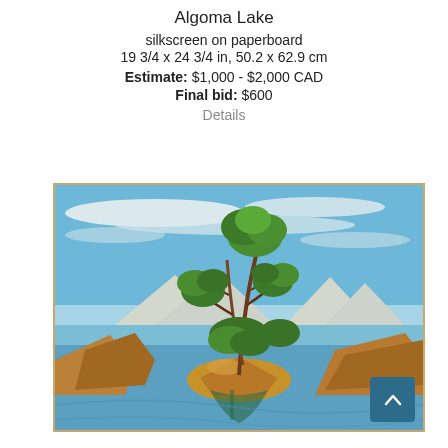Algoma Lake
silkscreen on paperboard
19 3/4 x 24 3/4 in, 50.2 x 62.9 cm
Estimate: $1,000 - $2,000 CAD
Final bid: $600
Details
[Figure (illustration): Silkscreen print titled Algoma Lake showing a Canadian Shield landscape with rocky outcroppings, a twisted pine tree on a small island in the center, blue lake water, white clouds in a blue sky, and distant hills in the background. Bold flat colors in a modernist style.]